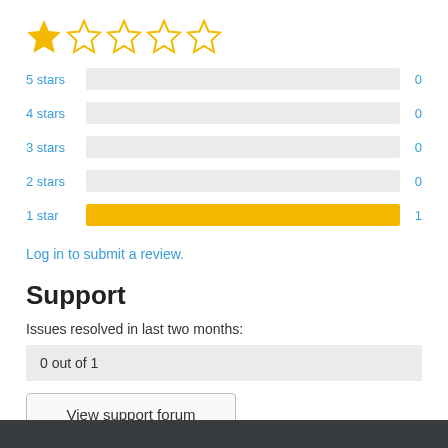[Figure (other): Star rating display: 1 filled gold star followed by 4 empty star outlines, indicating a 1-out-of-5 rating]
[Figure (bar-chart): Rating distribution]
Log in to submit a review.
Support
Issues resolved in last two months:
0 out of 1
View support forum